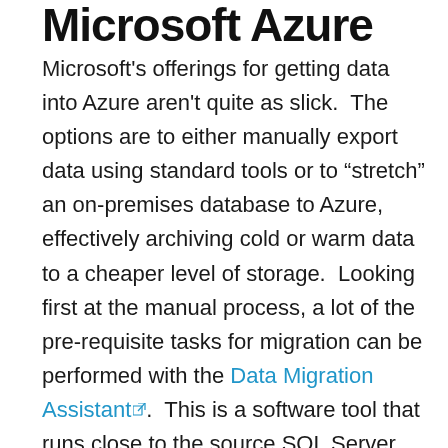Microsoft Azure
Microsoft's offerings for getting data into Azure aren't quite as slick.  The options are to either manually export data using standard tools or to “stretch” an on-premises database to Azure, effectively archiving cold or warm data to a cheaper level of storage.  Looking first at the manual process, a lot of the pre-requisite tasks for migration can be performed with the Data Migration Assistantⓔ.  This is a software tool that runs close to the source SQL Server database and performs a number of validation checks on the source data compared to the managed Azure platform.  The latest release of DMA (3.2, released 25